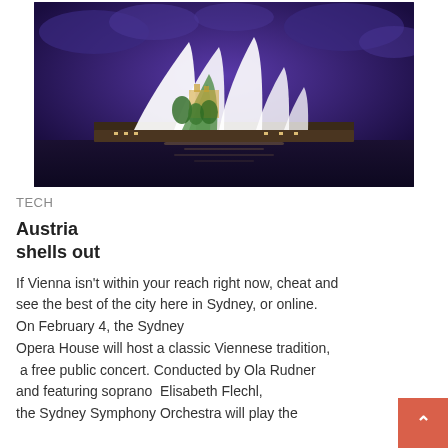[Figure (photo): Night photograph of Sydney Opera House illuminated with projected images of Vienna buildings and greenery against a dramatic purple cloudy sky, with reflections on the harbor water below.]
TECH
Austria
shells out
If Vienna isn't within your reach right now, cheat and see the best of the city here in Sydney, or online. On February 4, the Sydney Opera House will host a classic Viennese tradition, a free public concert. Conducted by Ola Rudner and featuring soprano  Elisabeth Flechl, the Sydney Symphony Orchestra will play the